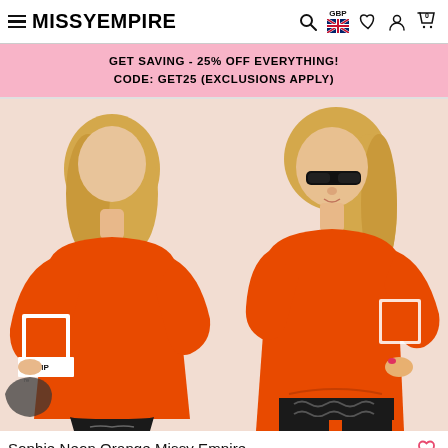MISSYEMPIRE — navigation header with search, GBP currency selector, wishlist, account, and cart icons
GET SAVING - 25% OFF EVERYTHING! CODE: GET25 (EXCLUSIONS APPLY)
[Figure (photo): Two side-by-side product photos of a woman wearing a neon orange Missy Empire sweatshirt. Left photo shows the back of the sweatshirt with 'MISSY EMPIRE' text on the sleeve, right photo shows the front view with the model wearing black sunglasses and black trousers with chain detail.]
Sophie Neon Orange Missy Empire